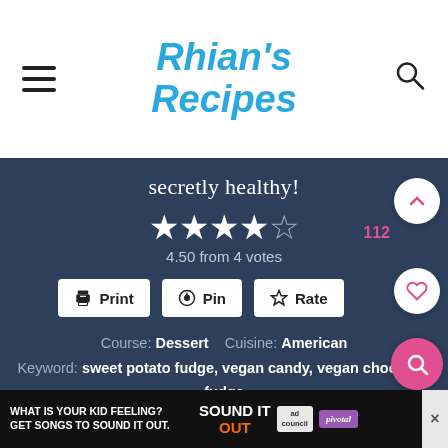Rhian's Recipes
secretly healthy!
4.50 from 4 votes
Course: Dessert   Cuisine: American
Keyword: sweet potato fudge, vegan candy, vegan chocolate fudge
Prep Time: 15 minutes
Cook Time: 50 minutes
[Figure (screenshot): Ad banner: WHAT IS YOUR KID FEELING? GET SONGS TO SOUND IT OUT. Sound It Out ad with Ad Council and Pivotal logos.]